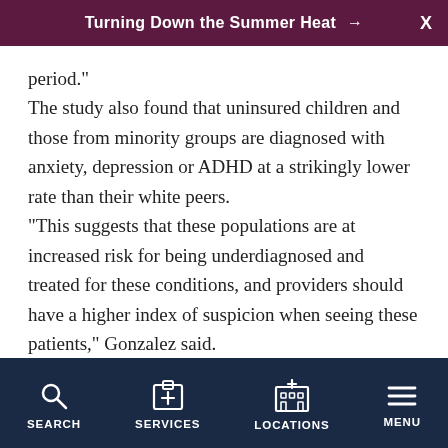Turning Down the Summer Heat →
period."
The study also found that uninsured children and those from minority groups are diagnosed with anxiety, depression or ADHD at a strikingly lower rate than their white peers.
"This suggests that these populations are at increased risk for being underdiagnosed and treated for these conditions, and providers should have a higher index of suspicion when seeing these patients," Gonzalez said.
Rebecca Berry is a clinical associate professor of child
SEARCH  SERVICES  LOCATIONS  MENU